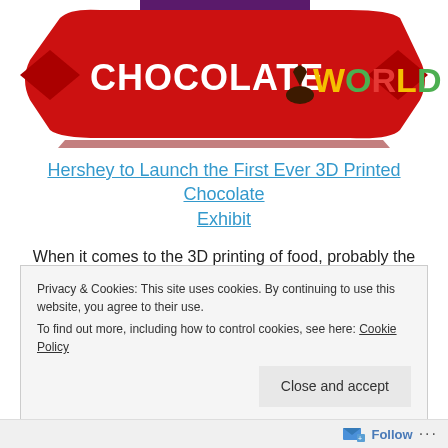[Figure (logo): Hershey's Chocolate World logo — red ribbon banner with white bold text 'CHOCOLATE', a brown Hershey's Kiss silhouette, and colorful text 'WORLD' in yellow, green, red letters]
Hershey to Launch the First Ever 3D Printed Chocolate Exhibit
When it comes to the 3D printing of food, probably the most popular, easiest, and most delectable food to print with is chocolate. We've seen numerous companies, both large and small, experiment with the process, and in fact there are several chocolate printers in production as we speak, which are capable of intricate fabrication of unique
Privacy & Cookies: This site uses cookies. By continuing to use this website, you agree to their use.
To find out more, including how to control cookies, see here: Cookie Policy

Close and accept
Follow ...